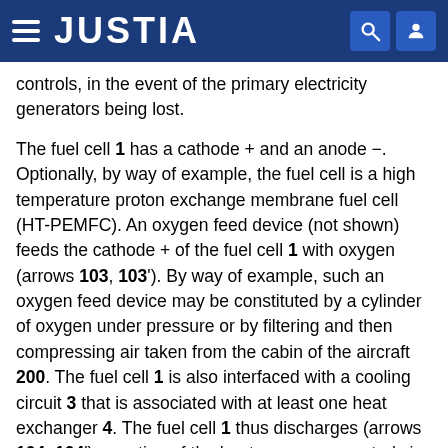JUSTIA
controls, in the event of the primary electricity generators being lost.
The fuel cell 1 has a cathode + and an anode −. Optionally, by way of example, the fuel cell is a high temperature proton exchange membrane fuel cell (HT-PEMFC). An oxygen feed device (not shown) feeds the cathode + of the fuel cell 1 with oxygen (arrows 103, 103'). By way of example, such an oxygen feed device may be constituted by a cylinder of oxygen under pressure or by filtering and then compressing air taken from the cabin of the aircraft 200. The fuel cell 1 is also interfaced with a cooling circuit 3 that is associated with at least one heat exchanger 4. The fuel cell 1 thus discharges (arrows 104, 104') a portion of the heat energy generated via the cooling circuit 3.
A dihydrogen generator 5 is connected (arrows 105